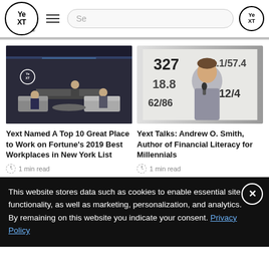Yext website header with logo, menu, and search bar
[Figure (photo): Office scene with people sitting on modern grey sofas in a dark-themed Yext branded space]
[Figure (photo): Man speaking at a presentation with numbers 327, 18.8, 62/86, 11.1/57.4, 12/4 visible on the screen behind him]
Yext Named A Top 10 Great Place to Work on Fortune's 2019 Best Workplaces in New York List
1 min read
Yext Talks: Andrew O. Smith, Author of Financial Literacy for Millennials
1 min read
This website stores data such as cookies to enable essential site functionality, as well as marketing, personalization, and analytics. By remaining on this website you indicate your consent. Privacy Policy